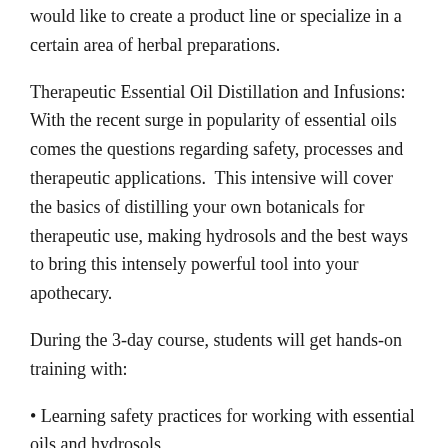would like to create a product line or specialize in a certain area of herbal preparations.
Therapeutic Essential Oil Distillation and Infusions: With the recent surge in popularity of essential oils comes the questions regarding safety, processes and therapeutic applications.  This intensive will cover the basics of distilling your own botanicals for therapeutic use, making hydrosols and the best ways to bring this intensely powerful tool into your apothecary.
During the 3-day course, students will get hands-on training with:
• Learning safety practices for working with essential oils and hydrosols